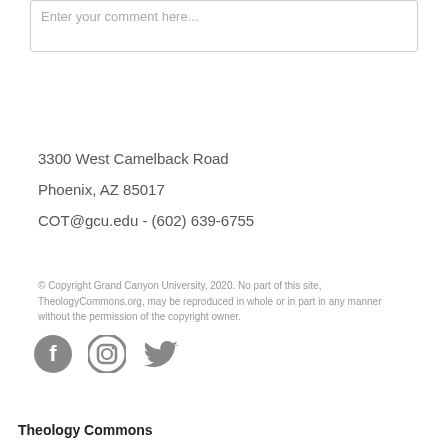Enter your comment here...
3300 West Camelback Road
Phoenix, AZ 85017
COT@gcu.edu - (602) 639-6755
© Copyright Grand Canyon University, 2020. No part of this site, TheologyCommons.org, may be reproduced in whole or in part in any manner without the permission of the copyright owner.
[Figure (illustration): Social media icons: Facebook, Instagram, Twitter]
Theology Commons